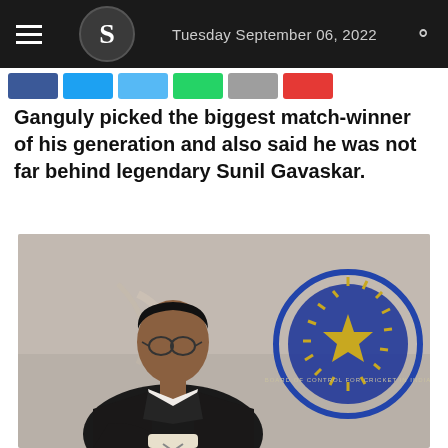Tuesday September 06, 2022
Ganguly picked the biggest match-winner of his generation and also said he was not far behind legendary Sunil Gavaskar.
[Figure (photo): Sourav Ganguly seated in front of the BCCI emblem, wearing a dark blazer and white shirt, looking directly at the camera.]